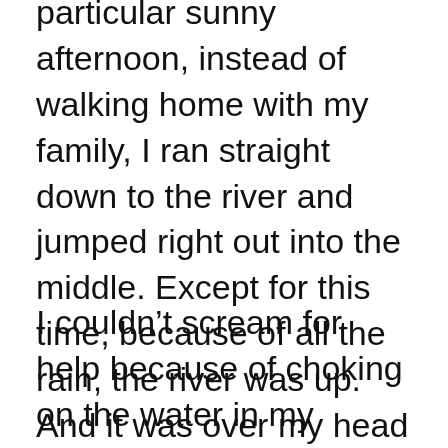particular sunny afternoon, instead of walking home with my family, I ran straight down to the river and jumped right out into the middle. Except for this time, because of all the rain, the river was up. And it was over my head so, I went under and got strangled.
I couldn't scream for help because of choking on the water in my lungs. So in a fearful panic. I fought with every fiber of my being to stay on top of the water. But I knew, at that moment, I was going to die. And